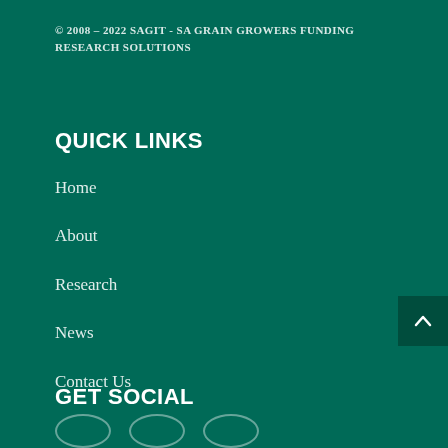© 2008 - 2022 SAGIT - SA GRAIN GROWERS FUNDING RESEARCH SOLUTIONS
QUICK LINKS
Home
About
Research
News
Contact Us
GET SOCIAL